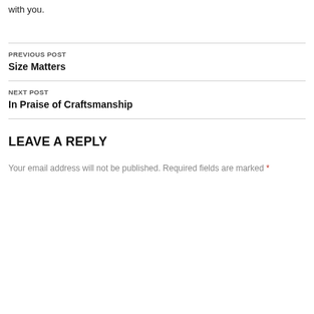with you.
PREVIOUS POST
Size Matters
NEXT POST
In Praise of Craftsmanship
LEAVE A REPLY
Your email address will not be published. Required fields are marked *